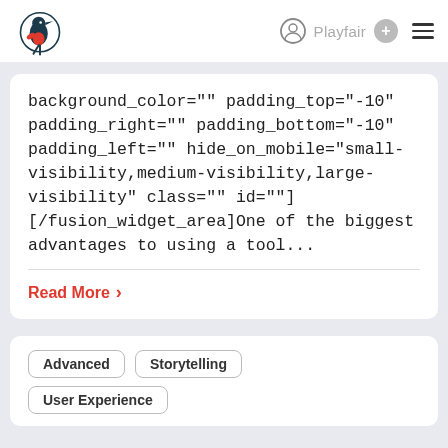Playfair
background_color="" padding_top="-10" padding_right="" padding_bottom="-10" padding_left="" hide_on_mobile="small-visibility,medium-visibility,large-visibility" class="" id=""][/fusion_widget_area]One of the biggest advantages to using a tool...
Read More
Advanced
Storytelling
User Experience